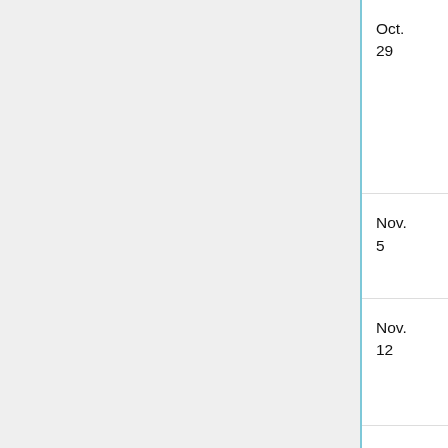| Date | Speaker | Title |
| --- | --- | --- |
| Oct. 29 | Brian Hepler (Note: seminar begins at 2:30 in VV B313) | Vanishing Cycles for Irregular Local Systems |
| Nov. 5 | Botong Wang | Topological methods in combinatorics |
| Nov. 12 | Nate Fisher | Horofunction boundaries of groups and spaces |
| Nov. 19 | Sigurd Angenent | Questions for Topologists about Curve Shortening |